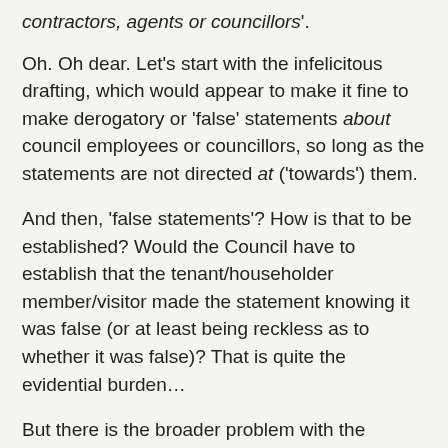contractors, agents or councillors'.
Oh. Oh dear. Let's start with the infelicitous drafting, which would appear to make it fine to make derogatory or 'false' statements about council employees or councillors, so long as the statements are not directed at ('towards') them.
And then, 'false statements'? How is that to be established? Would the Council have to establish that the tenant/householder member/visitor made the statement knowing it was false (or at least being reckless as to whether it was false)? That is quite the evidential burden…
But there is the broader problem with the clause, which is its scope.
Just to be clear – in case that was needed –  no